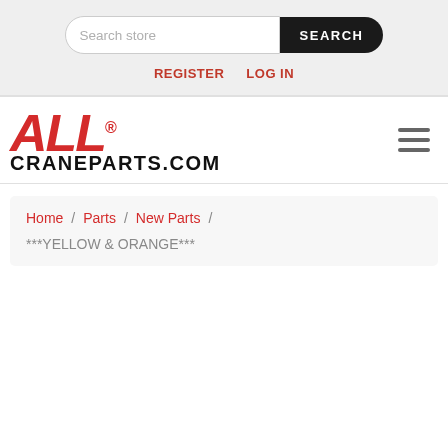Search store | SEARCH | REGISTER | LOG IN
[Figure (logo): ALL CRANEPARTS.COM logo — ALL in large red bold italic text with registered trademark symbol, CRANEPARTS.COM in black bold text below]
Home / Parts / New Parts / ***YELLOW & ORANGE***